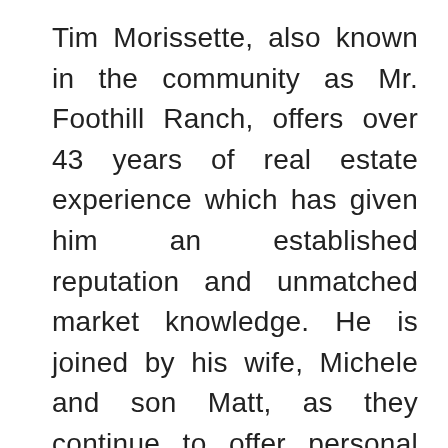Tim Morissette, also known in the community as Mr. Foothill Ranch, offers over 43 years of real estate experience which has given him an established reputation and unmatched market knowledge. He is joined by his wife, Michele and son Matt, as they continue to offer personal service with an emphasis on achieving his clients' real estate goals. This unique combination of traits has led to his proven track record of referral and repeat business. This can be